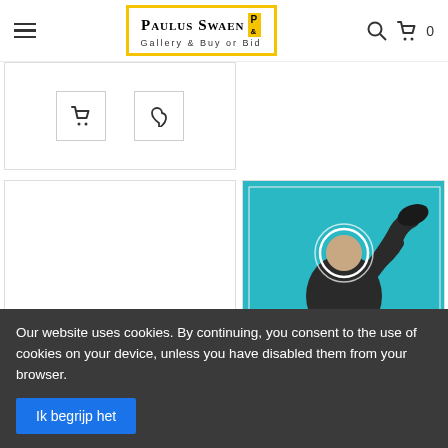Paulus Swaen Gallery & Buy or Bid
[Figure (screenshot): Partial product card with shopping cart and wishlist (heart) buttons visible]
[Figure (photo): Empty white product card placeholder on the left]
[Figure (photo): Soviet propaganda poster with a cosmonaut figure on a pedestal, bright teal background, Cyrillic text reading 'ЭТО НАША С ТОБОЙ БИОГРАФИЯ' in orange letters]
Our website uses cookies. By continuing, you consent to the use of cookies on your device, unless you have disabled them from your browser.
Ik begrijp het